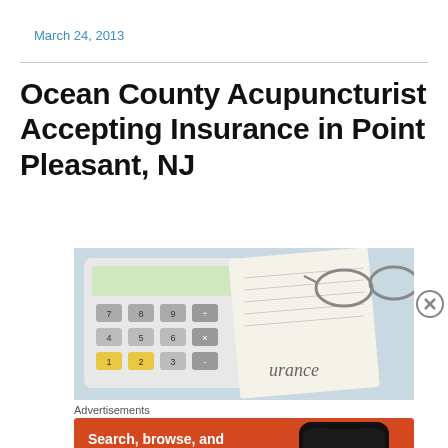March 24, 2013
Ocean County Acupuncturist Accepting Insurance in Point Pleasant, NJ
[Figure (photo): Calculator and insurance document with text 'insurance' visible, along with glasses]
Advertisements
[Figure (screenshot): DuckDuckGo advertisement: 'Search, browse, and email with more privacy. All in One Free App' with DuckDuckGo logo and phone mockup on orange background]